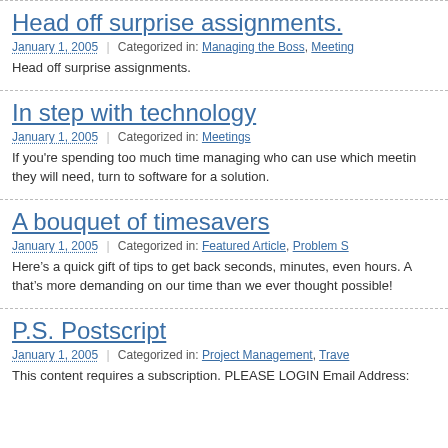Head off surprise assignments.
January 1, 2005  |  Categorized in: Managing the Boss, Meeting...
Head off surprise assignments.
In step with technology
January 1, 2005  |  Categorized in: Meetings
If you're spending too much time managing who can use which meetin... they will need, turn to software for a solution.
A bouquet of timesavers
January 1, 2005  |  Categorized in: Featured Article, Problem S...
Here's a quick gift of tips to get back seconds, minutes, even hours. A... that's more demanding on our time than we ever thought possible!
P.S. Postscript
January 1, 2005  |  Categorized in: Project Management, Trave...
This content requires a subscription. PLEASE LOGIN Email Address: